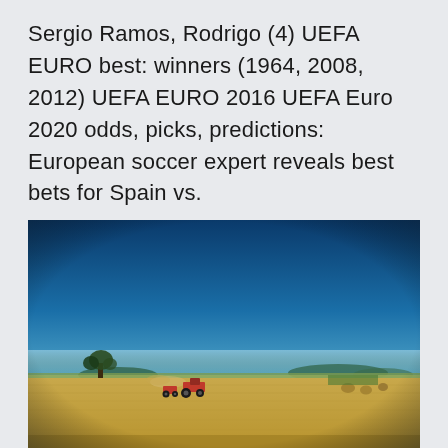Sergio Ramos, Rodrigo (4) UEFA EURO best: winners (1964, 2008, 2012) UEFA EURO 2016 UEFA Euro 2020 odds, picks, predictions: European soccer expert reveals best bets for Spain vs.
[Figure (photo): Vintage-toned photograph of a wide, flat agricultural field under a deep blue sky. A tractor or farm vehicle is visible in the mid-ground on the left side, surrounded by golden wheat or grain fields. Trees and low hills are visible on the horizon.]